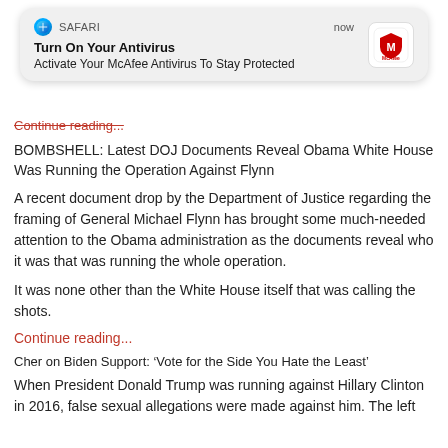[Figure (screenshot): Safari browser push notification popup showing McAfee antivirus advertisement. Header shows Safari compass icon, 'SAFARI' text, and 'now' timestamp. Title: 'Turn On Your Antivirus'. Body: 'Activate Your McAfee Antivirus To Stay Protected'. McAfee logo on the right.]
Continue reading...
BOMBSHELL: Latest DOJ Documents Reveal Obama White House Was Running the Operation Against Flynn
A recent document drop by the Department of Justice regarding the framing of General Michael Flynn has brought some much-needed attention to the Obama administration as the documents reveal who it was that was running the whole operation.
It was none other than the White House itself that was calling the shots.
Continue reading...
Cher on Biden Support: ‘Vote for the Side You Hate the Least’
When President Donald Trump was running against Hillary Clinton in 2016, false sexual allegations were made against him. The left